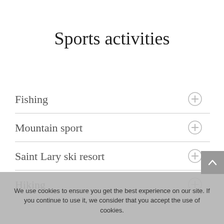Sports activities
Fishing
Mountain sport
Saint Lary ski resort
Hiking
We use cookies to ensure you get the best experience on our site. If you continue to use it, we consider that you accept the use of cookies.